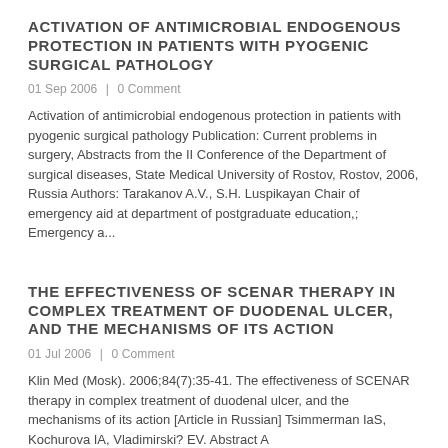ACTIVATION OF ANTIMICROBIAL ENDOGENOUS PROTECTION IN PATIENTS WITH PYOGENIC SURGICAL PATHOLOGY
01 Sep 2006  |  0 Comment
Activation of antimicrobial endogenous protection in patients with pyogenic surgical pathology Publication: Current problems in surgery, Abstracts from the II Conference of the Department of surgical diseases, State Medical University of Rostov, Rostov, 2006, Russia Authors: Tarakanov A.V., S.H. Luspikayan Chair of emergency aid at department of postgraduate education,; Emergency a...
THE EFFECTIVENESS OF SCENAR THERAPY IN COMPLEX TREATMENT OF DUODENAL ULCER, AND THE MECHANISMS OF ITS ACTION
01 Jul 2006  |  0 Comment
Klin Med (Mosk). 2006;84(7):35-41. The effectiveness of SCENAR therapy in complex treatment of duodenal ulcer, and the mechanisms of its action [Article in Russian] Tsimmerman IaS, Kochurova IA, Vladimirski? EV. Abstract A